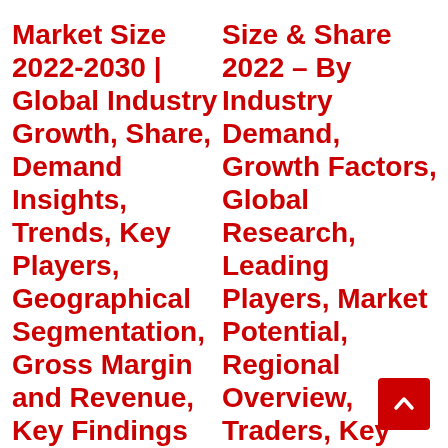Market Size 2022-2030 | Global Industry Growth, Share, Demand Insights, Trends, Key Players, Geographical Segmentation, Gross Margin and Revenue, Key Findings and Forecast Research
Size & Share 2022 – By Industry Demand, Growth Factors, Global Research, Leading Players, Market Potential, Regional Overview, Traders, Key Findings, Revenue and SWOT Analysis till 2030 »»